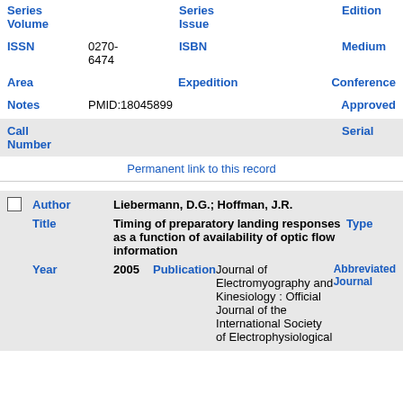| Field | Value | Field2 | Value2 |
| --- | --- | --- | --- |
| Series Volume |  | Series Issue |  | Edition |  |
| ISSN | 0270-6474 | ISBN |  | Medium |  |
| Area |  | Expedition |  | Conference |  |
| Notes | PMID:18045899 |  |  | Approved |  |
| Call Number |  |  |  | Serial |  |
Permanent link to this record
| Field | Value | Field2 | Value2 |
| --- | --- | --- | --- |
| Author | Liebermann, D.G.; Hoffman, J.R. |  |  |
| Title | Timing of preparatory landing responses as a function of availability of optic flow information | Type |  |
| Year | 2005 | Publication | Journal of Electromyography and Kinesiology : Official Journal of the International Society of Electrophysiological | Abbreviated Journal |  |